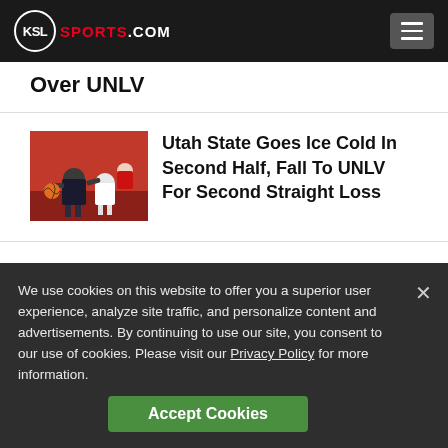KSL SPORTS.COM
Over UNLV
[Figure (photo): Basketball game photo showing a Utah State player driving against UNLV defenders in a red gym]
Utah State Goes Ice Cold In Second Half, Fall To UNLV For Second Straight Loss
We use cookies on this website to offer you a superior user experience, analyze site traffic, and personalize content and advertisements. By continuing to use our site, you consent to our use of cookies. Please visit our Privacy Policy for more information.
Accept Cookies